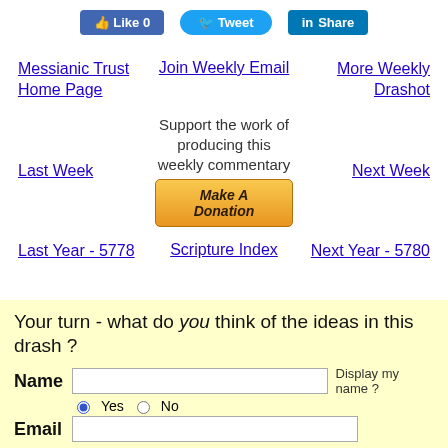[Figure (other): Social sharing buttons: Like 0 (Facebook), Tweet (Twitter), Share (LinkedIn)]
Messianic Trust Home Page
Join Weekly Email
More Weekly Drashot
Last Week
Support the work of producing this weekly commentary
Make A Donation
Next Week
Last Year - 5778
Scripture Index
Next Year - 5780
Your turn - what do you think of the ideas in this drash ?
Name
Display my name ?
Yes
No
Email